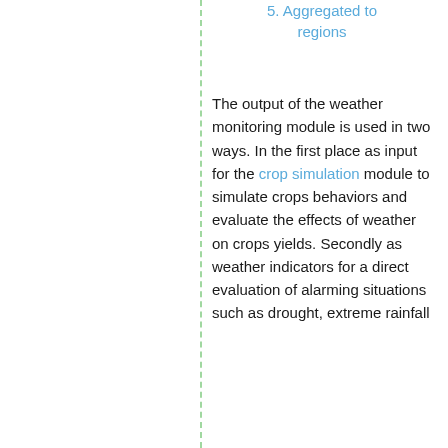5. Aggregated to regions
The output of the weather monitoring module is used in two ways. In the first place as input for the crop simulation module to simulate crops behaviors and evaluate the effects of weather on crops yields. Secondly as weather indicators for a direct evaluation of alarming situations such as drought, extreme rainfall